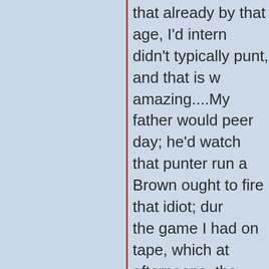that already by that age, I'd intern didn't typically punt, and that is w amazing....My father would peer day; he'd watch that punter run a Brown ought to fire that idiot; dur the game I had on tape, which at afternoons, the Cincinnati Benga Steelers, they won upwards of a explanation for my continued atta Superbowl) and "The Klinglering
[ So I will stop right there for a m
I ought to have stopped earlier, b leaf....Friends, I have not written than they appear. By objects, I m bloggings, I used the word "symb football....Paul Tillich, the 20th ce any form, be it as a noun ("symb in detail exactly just what the he